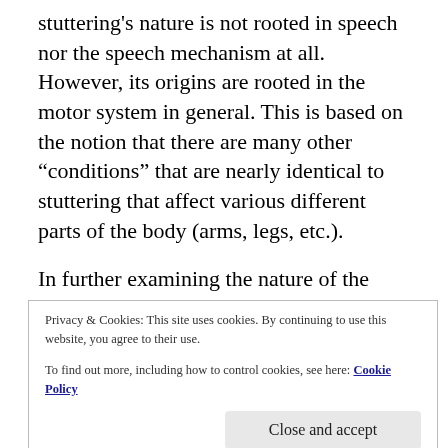stuttering's nature is not rooted in speech nor the speech mechanism at all.  However, its origins are rooted in the motor system in general.  This is based on the notion that there are many other "conditions" that are nearly identical to stuttering that affect various different parts of the body (arms, legs, etc.).
In further examining the nature of the motor system there is strong evidence that elements like fear and other emotions can be significant influences on motor performance.  Better yet these elements can at times, directly control motor performance (movements) or inhibit it
Privacy & Cookies: This site uses cookies. By continuing to use this website, you agree to their use. To find out more, including how to control cookies, see here: Cookie Policy
specifically.  There are numerous elements that can